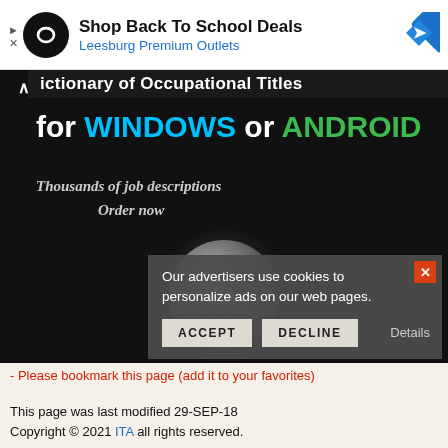[Figure (screenshot): Advertisement banner for Leesburg Premium Outlets: black circular logo with infinity-like symbol, text 'Shop Back To School Deals' in bold black, 'Leesburg Premium Outlets' in blue, blue diamond navigation arrow icon on right. Play and X controls on left.]
[Figure (screenshot): Dark promotional image for Dictionary of Occupational Titles app for Windows (blue) or Android (green). Shows text 'Thousands of job descriptions / Order now' in italic, and a metallic globe with 'ita' text. Partial top bar visible.]
Our advertisers use cookies to personalize ads on our web pages.
ACCEPT   DECLINE   Details
- Please bookmark this page (add it to your favorites)
This page was last modified 29-SEP-18
Copyright © 2021 ITA all rights reserved.